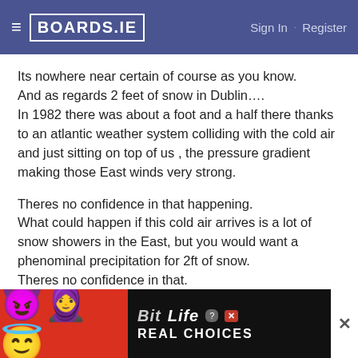BOARDS.IE  Sign In · Register
Its nowhere near certain of course as you know.
And as regards 2 feet of snow in Dublin….
In 1982 there was about a foot and a half there thanks to an atlantic weather system colliding with the cold air and just sitting on top of us , the pressure gradient making those East winds very strong.
Theres no confidence in that happening.
What could happen if this cold air arrives is a lot of snow showers in the East, but you would want a phenominal precipitation for 2ft of snow.
Theres no confidence in that.
So my advice is ramp away but make it clear thats all you are doing untill this becomes clear as theres a good chance...
[Figure (screenshot): BitLife mobile game advertisement banner with emoji characters and red background]